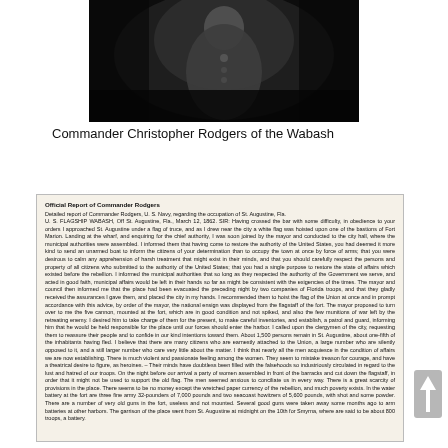[Figure (photo): Black and white portrait photograph of Commander Christopher Rodgers of the Wabash, showing a man in dark uniform against a dark background.]
Commander Christopher Rodgers of the Wabash
Official Report of Commander Rodgers
Detailed report of Commander Rodgers, U. S. Navy, regarding the occupation of St. Augustine, Fla.
U. S. FLAGSHIP WABASH, Off St. Augustine, Fla., March 12, 1862. SIR: Having crossed the bar with some difficulty, in obedience to your orders I approached St. Augustine under a flag of truce, and as I drew near the city a white flag was hoisted upon one of the bastions of Fort Marion. Landing at the wharf, and enquiring for the chief authority, I was soon joined by the mayor and conducted to the city hall, where the municipal authorities were assembled. I informed them that having come to restore the authority of the United States, you had deemed it more kind to send an unarmed boat to inform the citizens of your determination than to occupy the town at once by force of arms; that you were desirous to calm any apprehension of harsh treatment that might exist in their minds, and that you should carefully respect the persons and property of all citizens who submitted to the authority of the United States; that you had a single purpose to restore the state of affairs which existed before the rebellion. I informed the municipal authorities that so long as they respected the authority of the Government we serve, and acted in good faith, municipal affairs would be left in their hands so far as might be consistent with the exigencies of the times. The mayor and council then informed me that the place had been evacuated the preceding night by two companies of Florida troops, and that they gladly received the assurances I gave them, and placed the city in my hands. I recommended them to hoist the flag of the Union at once and in prompt accordance with this advice, by order of the mayor, the national ensign was displayed from the flagstaff of the fort. The mayor proposed to turn over to me the five cannon, mounted at the fort, which are in good condition and not spiked, and also the few munitions of war left by the retreating enemy. I desired him to take charge of them for the present, to make careful inventories, and establish, a patrol and guard, informing him that he would be held responsible for the place until our forces should enter the harbor. I called upon the clergymen of the city, requesting them to reassure their people and to confide in our kind intentions toward them. About 1,500 persons remain in St. Augustine, about one-fifth of the inhabitants having fled. I believe that there are many citizens who are earnestly attached to the Union, a large number who are silently opposed to it, and a still larger number who care very little about the matter. I think that nearly all the men acquiesce in the condition of affairs we are now establishing. There is much violent and passionate feeling among the women. They seem to mistake treason for courage, and have a theatrical desire to figure, as heroines. – Their minds have doubtless been filled with the falsehoods so industriously circulated in regard to the lust and hatred of our troops. On the night before our arrival a party of women assembled in front of the barracks and cut down the flagstaff, in order that it might not be used to support the old flag. The men seemed anxious to conciliate us in every way. There is a great scarcity of provisions in the place. There seems to be no money except the wretched paper currency of the rebellion, and much poverty exists. In the water battery at the fort are three fine army 32-pounders of 7,000 pounds and two seacoast howitzers of 5,600 pounds, with shot and some powder. There are a number of very old guns in the fort, useless and not mounted. Several good guns were taken away some months ago to arm batteries at other harbors. The garrison of the place went from St. Augustine at midnight on the 10th for Smyrna, where are said to be about 800 troops, a battery.